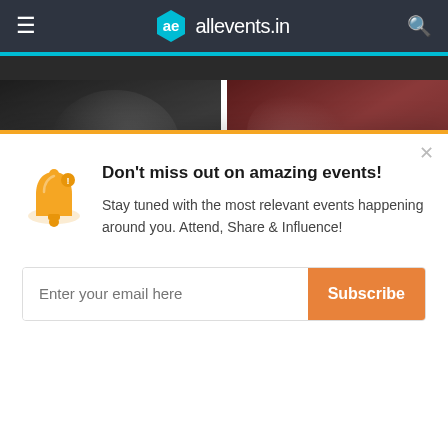allevents.in navigation bar
[Figure (screenshot): Sports category card with dark background showing a footballer, labeled 'Sports']
[Figure (screenshot): Health & Wellness category card with people exercising, labeled 'Health & Wellness']
TRENDING IN GREENSBORO
Don't miss out on amazing events!
Stay tuned with the most relevant events happening around you. Attend, Share & Influence!
Enter your email here — Subscribe